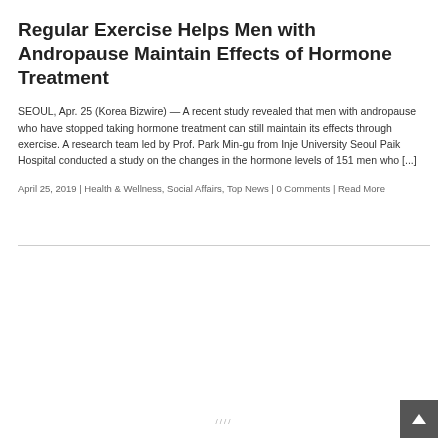Regular Exercise Helps Men with Andropause Maintain Effects of Hormone Treatment
SEOUL, Apr. 25 (Korea Bizwire) — A recent study revealed that men with andropause who have stopped taking hormone treatment can still maintain its effects through exercise. A research team led by Prof. Park Min-gu from Inje University Seoul Paik Hospital conducted a study on the changes in the hormone levels of 151 men who [...]
April 25, 2019 | Health & Wellness, Social Affairs, Top News | 0 Comments | Read More